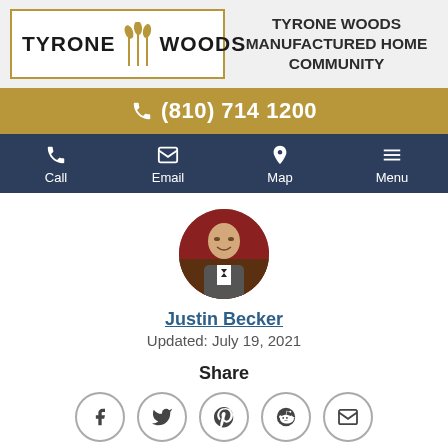[Figure (logo): Tyrone Woods logo with wheat graphic]
TYRONE WOODS MANUFACTURED HOME COMMUNITY
(810) 714 1200
[Figure (infographic): Navigation bar with Call, Email, Map, Menu icons]
[Figure (photo): Circular portrait of Justin Becker in formal wear]
Justin Becker
Updated: July 19, 2021
Share
[Figure (infographic): Social share icons: Facebook, Twitter, Pinterest, Reddit, Email]
Whether it's dating, meeting new people, or catching up